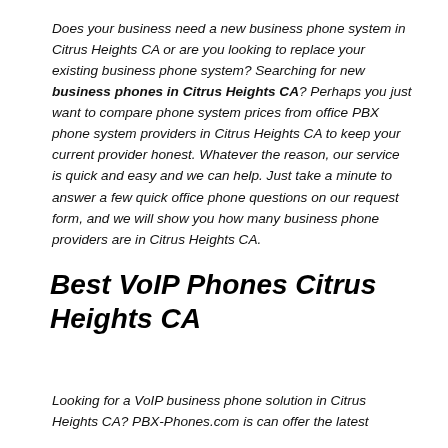Does your business need a new business phone system in Citrus Heights CA or are you looking to replace your existing business phone system? Searching for new business phones in Citrus Heights CA? Perhaps you just want to compare phone system prices from office PBX phone system providers in Citrus Heights CA to keep your current provider honest. Whatever the reason, our service is quick and easy and we can help. Just take a minute to answer a few quick office phone questions on our request form, and we will show you how many business phone providers are in Citrus Heights CA.
Best VoIP Phones Citrus Heights CA
Looking for a VoIP business phone solution in Citrus Heights CA? PBX-Phones.com is can offer the latest